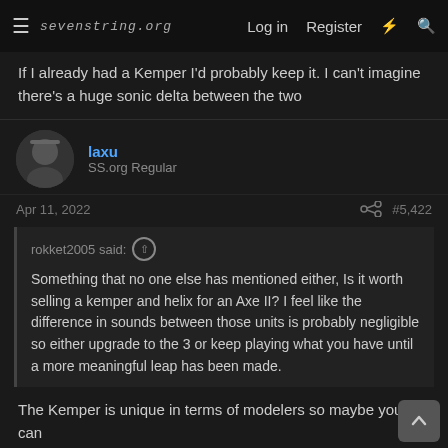sevenstring.org — Log in | Register
If I already had a Kemper I'd probably keep it. I can't imagine there's a huge sonic delta between the two
laxu
SS.org Regular
Apr 11, 2022   #5,422
rokket2005 said: ↑ Something that no one else has mentioned either, Is it worth selling a kemper and helix for an Axe II? I feel like the difference in sounds between those units is probably negligible so either upgrade to the 3 or keep playing what you have until a more meaningful leap has been made.
The Kemper is unique in terms of modelers so maybe you can consider keeping it.